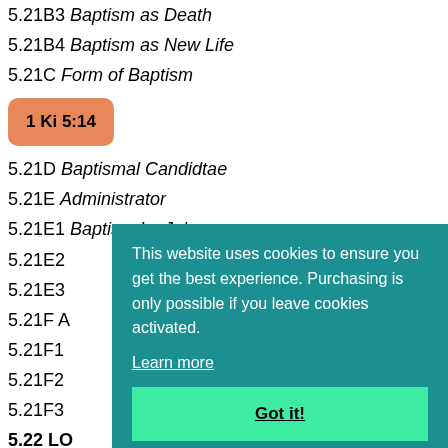5.21B3 Baptism as Death
5.21B4 Baptism as New Life
5.21C Form of Baptism
[Figure (other): Orange rounded badge/button showing '1 Ki 5:14' in bold text]
5.21D Baptismal Candidtae
5.21E Administrator
5.21E1 Baptism by John
5.21E2
5.21E3
5.21F A
5.21F1
5.21F2
5.21F3
5.22 LO
5.22A Background of Lord's Supper
[Figure (screenshot): Cookie consent overlay on teal background: 'This website uses cookies to ensure you get the best experience. Purchasing is only possible if you leave cookies activated.' with 'Learn more' link and 'Got it!' button]